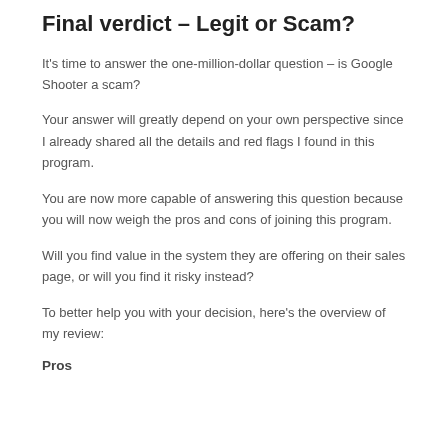Final verdict – Legit or Scam?
It's time to answer the one-million-dollar question – is Google Shooter a scam?
Your answer will greatly depend on your own perspective since I already shared all the details and red flags I found in this program.
You are now more capable of answering this question because you will now weigh the pros and cons of joining this program.
Will you find value in the system they are offering on their sales page, or will you find it risky instead?
To better help you with your decision, here's the overview of my review:
Pros